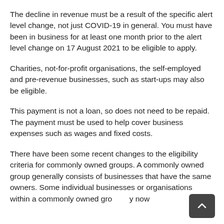The decline in revenue must be a result of the specific alert level change, not just COVID-19 in general. You must have been in business for at least one month prior to the alert level change on 17 August 2021 to be eligible to apply.
Charities, not-for-profit organisations, the self-employed and pre-revenue businesses, such as start-ups may also be eligible.
This payment is not a loan, so does not need to be repaid. The payment must be used to help cover business expenses such as wages and fixed costs.
There have been some recent changes to the eligibility criteria for commonly owned groups. A commonly owned group generally consists of businesses that have the same owners. Some individual businesses or organisations within a commonly owned group may now